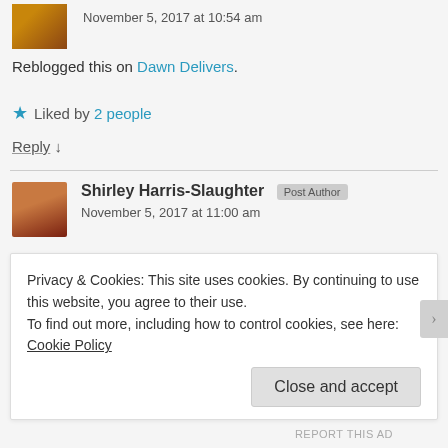November 5, 2017 at 10:54 am
Reblogged this on Dawn Delivers.
★ Liked by 2 people
Reply ↓
Shirley Harris-Slaughter — Post Author — November 5, 2017 at 11:00 am
Privacy & Cookies: This site uses cookies. By continuing to use this website, you agree to their use. To find out more, including how to control cookies, see here: Cookie Policy